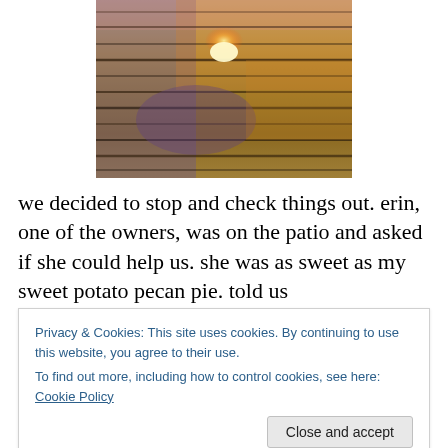[Figure (photo): A photo of weathered wooden deck boards or planks with colorful hues — warm orange, golden, purple — possibly illuminated by a setting sun or filtered light. The grain of the wood runs horizontally.]
we decided to stop and check things out. erin, one of the owners, was on the patio and asked if she could help us. she was as sweet as my sweet potato pecan pie. told us
Privacy & Cookies: This site uses cookies. By continuing to use this website, you agree to their use.
To find out more, including how to control cookies, see here: Cookie Policy
donate water to them. we decided we would go get a drink